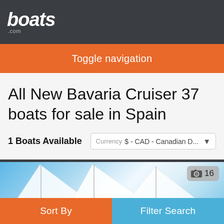boats.com
Toggle navigation
All New Bavaria Cruiser 37 boats for sale in Spain
1 Boats Available
Currency $ - CAD - Canadian D...
[Figure (photo): Boat listing image showing white sails against blue sky, with photo count badge showing camera icon and 16]
Sort By
Filter Search